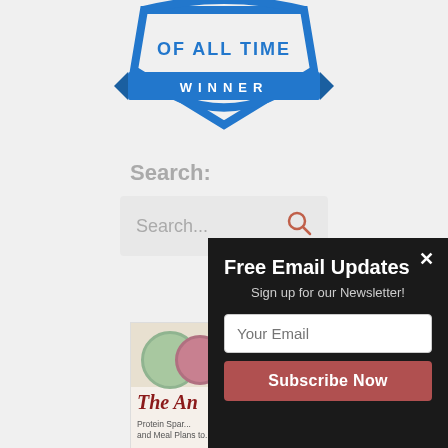[Figure (logo): Blue shield/badge shape with text 'OF ALL TIME' and 'WINNER' on a banner ribbon]
Search:
[Figure (screenshot): Search input box with placeholder 'Search...' and a salmon/orange search icon on the right]
[Figure (photo): Partial book cover showing plates with food, title starting with 'The An', subtitle 'Protein Spar... and Meal Plans to...']
[Figure (infographic): Black popup overlay with title 'Free Email Updates', subtitle 'Sign up for our Newsletter!', email input field with placeholder 'Your Email', and a red 'Subscribe Now' button. Close (x) button in top right.]